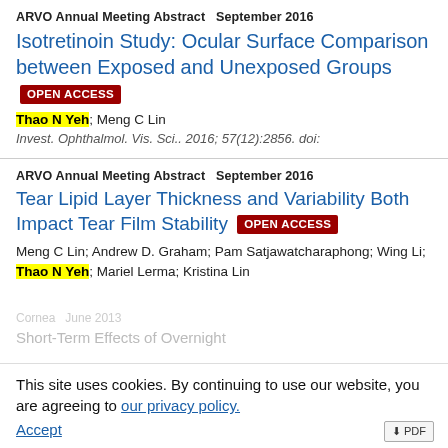ARVO Annual Meeting Abstract   September 2016
Isotretinoin Study: Ocular Surface Comparison between Exposed and Unexposed Groups [OPEN ACCESS]
Thao N Yeh; Meng C Lin
Invest. Ophthalmol. Vis. Sci.. 2016; 57(12):2856. doi:
ARVO Annual Meeting Abstract   September 2016
Tear Lipid Layer Thickness and Variability Both Impact Tear Film Stability [OPEN ACCESS]
Meng C Lin; Andrew D. Graham; Pam Satjawatcharaphong; Wing Li; Thao N Yeh; Mariel Lerma; Kristina Lin
This site uses cookies. By continuing to use our website, you are agreeing to our privacy policy. Accept